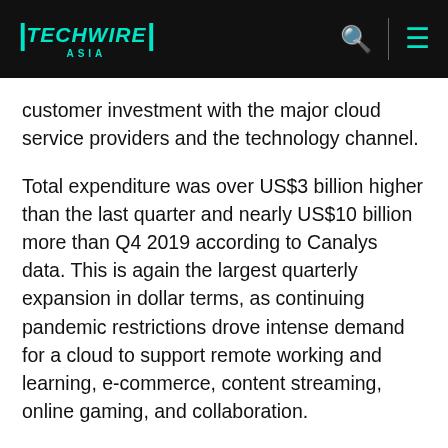TECHWIRE ASIA
customer investment with the major cloud service providers and the technology channel.
Total expenditure was over US$3 billion higher than the last quarter and nearly US$10 billion more than Q4 2019 according to Canalys data. This is again the largest quarterly expansion in dollar terms, as continuing pandemic restrictions drove intense demand for a cloud to support remote working and learning, e-commerce, content streaming, online gaming, and collaboration.
Cloud service providers
Amazon Web Services (AWS) maintained its majority market share at 31%, enjoying 28% growth